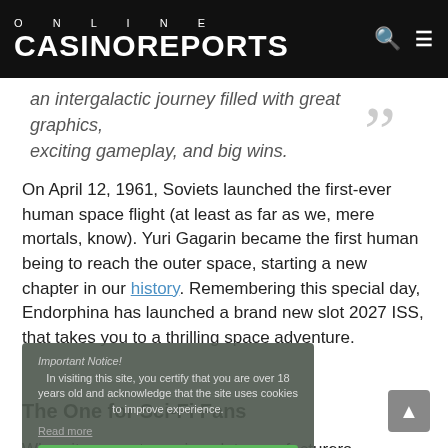ONLINE CASINOREPORTS
an intergalactic journey filled with great graphics, exciting gameplay, and big wins.
On April 12, 1961, Soviets launched the first-ever human space flight (at least as far as we, mere mortals, know). Yuri Gagarin became the first human being to reach the outer space, starting a new chapter in our history. Remembering this special day, Endorphina has launched a brand new slot 2027 ISS, that takes you to a thrilling space adventure.
The One for Sci-Fi Fans
When it comes to casino slot manufacturers, Endorphina rarely fails to impress with their products, and 2027 ISS isn't an exception that confirms the rule. Featuring impressive graphics with reels filled with fitting symbols like space stations and astronauts, set on the backdrop of a
Important Notice!
In visiting this site, you certify that you are over 18 years old and acknowledge that the site uses cookies to improve experience.
Read more
I agree